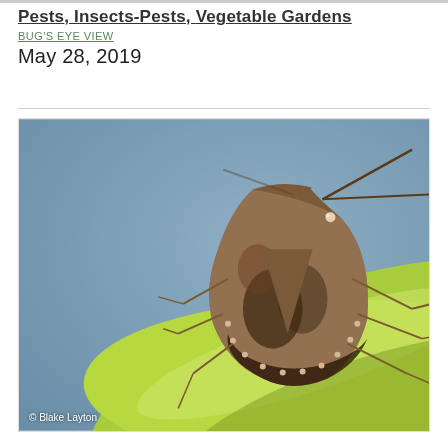Pests, Insects-Pests, Vegetable Gardens
BUG'S EYE VIEW
May 28, 2019
[Figure (photo): Close-up macro photograph of a brown marmorated stink bug (shield-shaped, mottled brown insect with long antennae) perched on a green plant stem, against a blue-grey background. Photo credit: © Blake Layton]